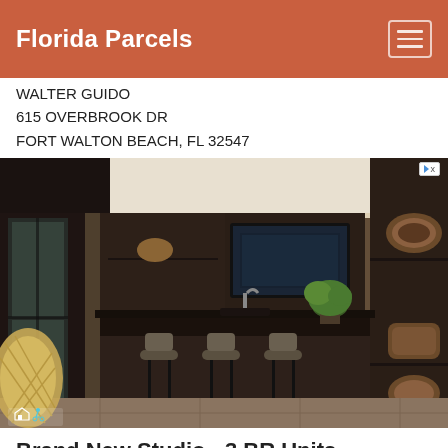Florida Parcels
WALTER GUIDO
615 OVERBROOK DR
FORT WALTON BEACH, FL 32547
[Figure (photo): Interior photo of a modern luxury kitchen with dark wood cabinetry, an island with bar stools, a mounted TV, and decorative shelving. Small fair housing and accessibility icons visible in lower left. Ad indicator in upper right.]
Brand New Studio - 3 BR Units